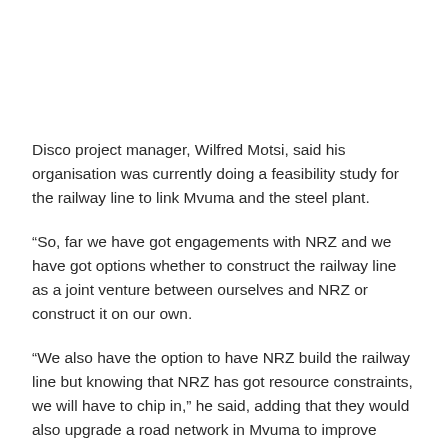Disco project manager, Wilfred Motsi, said his organisation was currently doing a feasibility study for the railway line to link Mvuma and the steel plant.
“So, far we have got engagements with NRZ and we have got options whether to construct the railway line as a joint venture between ourselves and NRZ or construct it on our own.
“We also have the option to have NRZ build the railway line but knowing that NRZ has got resource constraints, we will have to chip in,” he said, adding that they would also upgrade a road network in Mvuma to improve connectivity to the plant.